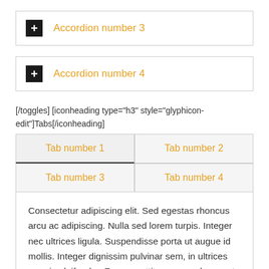Accordion number 3
Accordion number 4
[/toggles] [iconheading type="h3" style="glyphicon-edit"]Tabs[/iconheading]
| Tab number 1 | Tab number 2 |
| --- | --- |
| Tab number 3 | Tab number 4 |
Consectetur adipiscing elit. Sed egestas rhoncus arcu ac adipiscing. Nulla sed lorem turpis. Integer nec ultrices ligula. Suspendisse porta ut augue id mollis. Integer dignissim pulvinar sem, in ultrices mauris eleifend a. Fusce porttitor semper lacus, at vulputate justo rhoncus id. Curabitur sed erat cursus, tempus tellus in, pretium